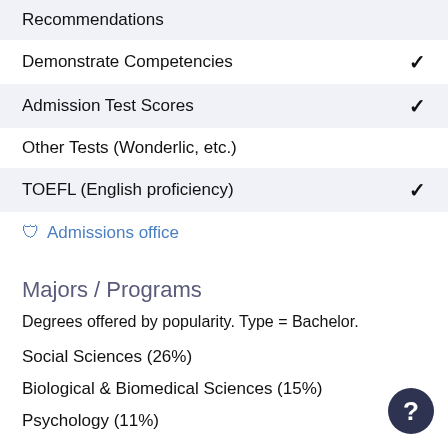Recommendations
Demonstrate Competencies ✓
Admission Test Scores ✓
Other Tests (Wonderlic, etc.)
TOEFL (English proficiency) ✓
🛡 Admissions office
Majors / Programs
Degrees offered by popularity. Type = Bachelor.
Social Sciences (26%)
Biological & Biomedical Sciences (15%)
Psychology (11%)